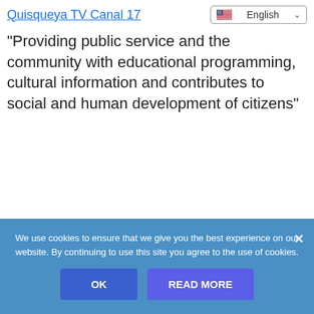Quisqueya TV Canal 17
"Providing public service and the community with educational programming, cultural information and contributes to social and human development of citizens"
We use cookies to ensure that we give you the best experience on our website. By continuing to use this site you agree to the use of cookies.